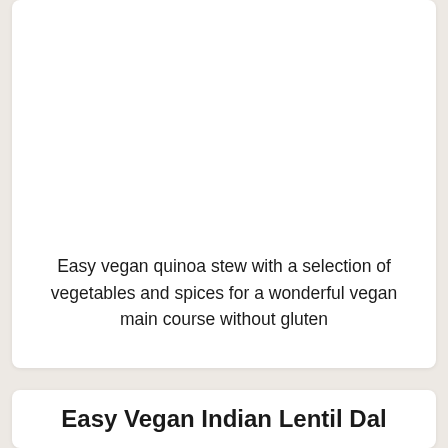Easy vegan quinoa stew with a selection of vegetables and spices for a wonderful vegan main course without gluten
Easy Vegan Indian Lentil Dal